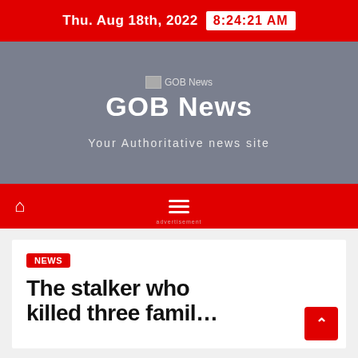Thu. Aug 18th, 2022  8:24:21 AM
[Figure (logo): GOB News logo with site name and tagline 'Your Authoritative news site']
Navigation bar with home icon and menu icon
NEWS
The stalker who killed three famil…